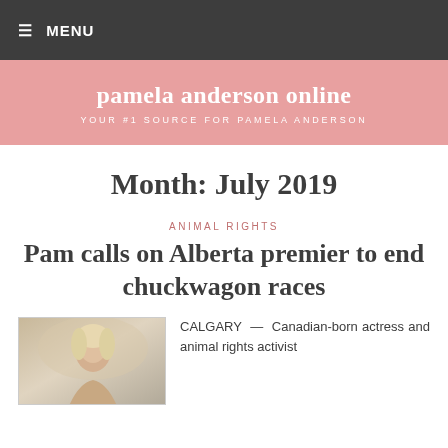≡ MENU
pamela anderson online
YOUR #1 SOURCE FOR PAMELA ANDERSON
Month: July 2019
ANIMAL RIGHTS
Pam calls on Alberta premier to end chuckwagon races
[Figure (photo): Thumbnail photo of a person with blonde hair against a light background]
CALGARY — Canadian-born actress and animal rights activist